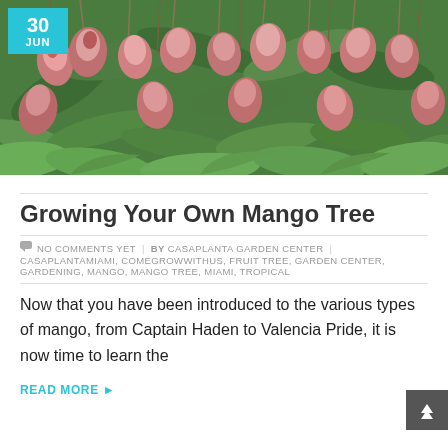[Figure (photo): Photo of mango tree with numerous ripe red-pink mangoes hanging from branches surrounded by green leaves. Has a date badge overlay showing '30 JUN' in cyan.]
Growing Your Own Mango Tree
NO COMMENTS YET   BY CASAPLANTA GARDEN CENTER   CASAPLANTAMIAMI, COMEGROWWITHUS, FRUIT TREE, GARDEN CENTER, GARDENING, MANGO, MANGO TREE, MIAMI, TROPICAL
Now that you have been introduced to the various types of mango, from Captain Haden to Valencia Pride, it is now time to learn the
READ MORE